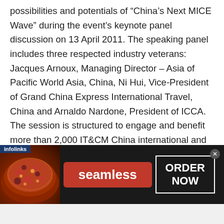possibilities and potentials of “China’s Next MICE Wave” during the event’s keynote panel discussion on 13 April 2011. The speaking panel includes three respected industry veterans: Jacques Arnoux, Managing Director – Asia of Pacific World Asia, China, Ni Hui, Vice-President of Grand China Express International Travel, China and Arnaldo Nardone, President of ICCA. The session is structured to engage and benefit more than 2,000 IT&CM China international and Chinese exhibitors, buyers and media.
[Figure (infographic): Advertisement banner: Infolinks label in top-left corner. Dark background banner showing pizza image on left, red 'seamless' button in center, and 'ORDER NOW' box on right with a close (x) button.]